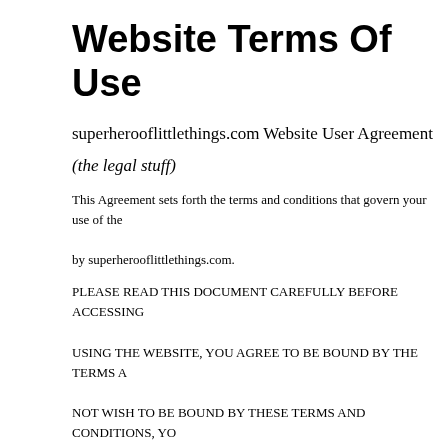Website Terms Of Use
superherooflittlethings.com Website User Agreement
(the legal stuff)
This Agreement sets forth the terms and conditions that govern your use of the by superherooflittlethings.com.
PLEASE READ THIS DOCUMENT CAREFULLY BEFORE ACCESSING USING THE WEBSITE, YOU AGREE TO BE BOUND BY THE TERMS A NOT WISH TO BE BOUND BY THESE TERMS AND CONDITIONS, YOU SHOULD IMMEDIATELY CEASE SUCH USE. superherooflittlethings.com and SUCH MODIFICATIONS SHALL BE EFFECTIVE IMMEDIATELY UP ON THE WEBSITE. YOU AGREE TO REVIEW THE AGREEMENT PERIO MODIFICATIONS AND YOUR CONTINUED ACCESS OR USE OF THE W